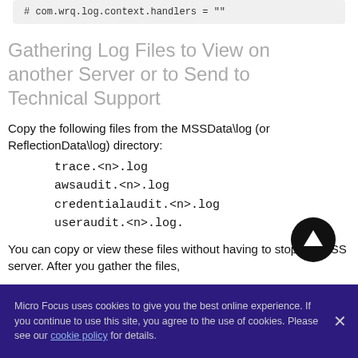[Figure (screenshot): Code snippet showing: # com.wrq.log.context.handlers = ""]
Gathering Log Files to View on another Server or to Send to Technical Support
Copy the following files from the MSSData\log (or ReflectionData\log) directory:
trace.<n>.log
awsaudit.<n>.log
credentialaudit.<n>.log
useraudit.<n>.log.
You can copy or view these files without having to stop the MSS server. After you gather the files,
Micro Focus uses cookies to give you the best online experience. If you continue to use this site, you agree to the use of cookies. Please see our cookie policy for details.